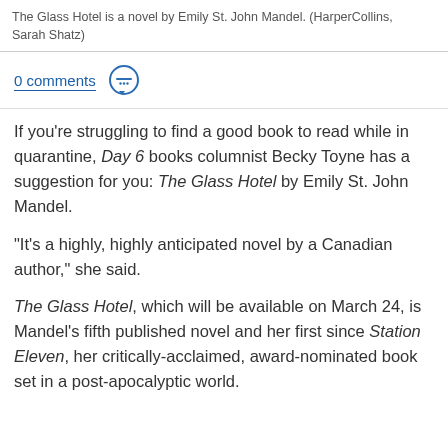The Glass Hotel is a novel by Emily St. John Mandel. (HarperCollins, Sarah Shatz)
0 comments
If you're struggling to find a good book to read while in quarantine, Day 6 books columnist Becky Toyne has a suggestion for you: The Glass Hotel by Emily St. John Mandel.
"It's a highly, highly anticipated novel by a Canadian author," she said.
The Glass Hotel, which will be available on March 24, is Mandel's fifth published novel and her first since Station Eleven, her critically-acclaimed, award-nominated book set in a post-apocalyptic world.